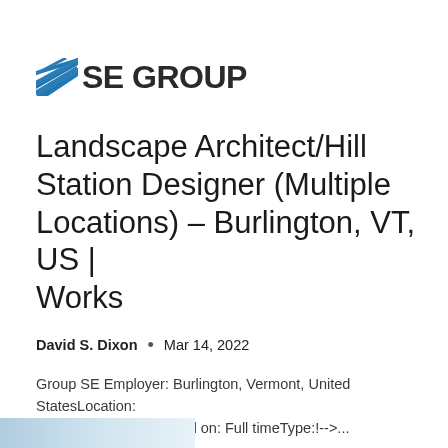[Figure (logo): SE GROUP logo with blue diagonal lines icon and bold dark text 'SE GROUP']
Landscape Architect/Hill Station Designer (Multiple Locations) – Burlington, VT, US | Works
David S. Dixon  •  Mar 14, 2022
Group SE Employer: Burlington, Vermont, United StatesLocation: Mon 14 March '22Posted on: Full timeType:!-->...
[Figure (photo): Partial image visible at bottom of page, light blue/grey tones]